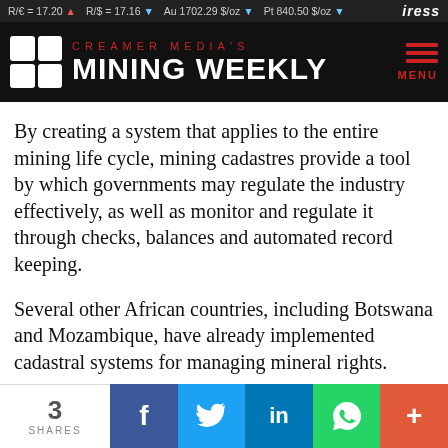R/€ = 17.20 ▲   R/$ = 17.16 ▼   Au 1702.29 $/oz ▼   Pt 840.50 $/oz ▼   iress
[Figure (logo): Creamer Media's Mining Weekly logo with four-square grid icon and red/white text on black background, plus red hamburger menu and MENU label]
By creating a system that applies to the entire mining life cycle, mining cadastres provide a tool by which governments may regulate the industry effectively, as well as monitor and regulate it through checks, balances and automated record keeping.
Several other African countries, including Botswana and Mozambique, have already implemented cadastral systems for managing mineral rights.
3 SHARES   f   🐦   in   WhatsApp   +